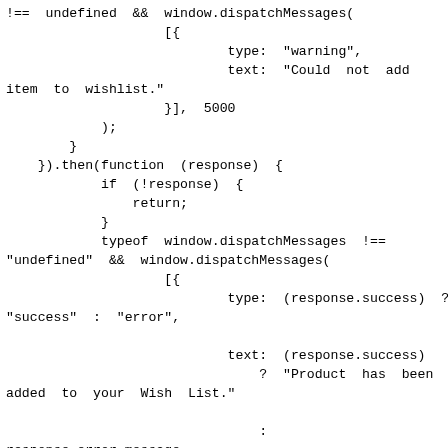!== undefined && window.dispatchMessages(
                    [{
                            type: "warning",
                            text: "Could not add
item to wishlist."
                    }], 5000
            );
        }
    }).then(function (response) {
            if (!response) {
                return;
            }
            typeof window.dispatchMessages !==
"undefined" && window.dispatchMessages(
                    [{
                            type: (response.success) ?
"success" : "error",

                            text: (response.success)
                                ? "Product has been
added to your Wish List."

                                :
response.error_message
                    }], 5000
            );
            const reloadCustomerDataEvent = new
CustomEvent("reload-customer-section-data");

window.dispatchEvent(reloadCustomerDataEvent);
    }).catch(function (error) {
            typeof window.dispatchMessages !==
"undefined" && window.dispatchMessages(